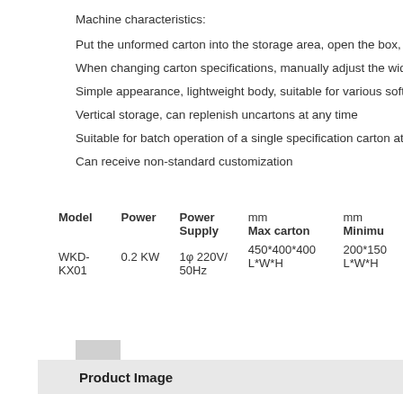Machine characteristics:
Put the unformed carton into the storage area, open the box, and seal th…
When changing carton specifications, manually adjust the width and heig…
Simple appearance, lightweight body, suitable for various soft and hard c…
Vertical storage, can replenish uncartons at any time
Suitable for batch operation of a single specification carton at the same t…
Can receive non-standard customization
| Model | Power | Power Supply | mm
Max carton | mm
Minimu… |
| --- | --- | --- | --- | --- |
| WKD-KX01 | 0.2 KW | 1φ 220V/ 50Hz | 450*400*400
L*W*H | 200*150…
L*W*H |
Product Image